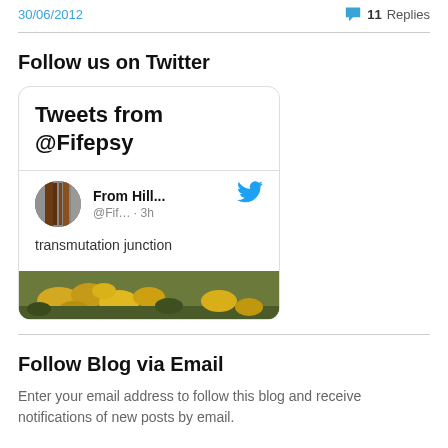30/06/2012   💬 11 Replies
Follow us on Twitter
[Figure (screenshot): Twitter widget card showing 'Tweets from @Fifepsy' with a tweet from 'From Hill... @Fif... · 3h' saying 'transmutation junction' with a nature photo thumbnail]
Follow Blog via Email
Enter your email address to follow this blog and receive notifications of new posts by email.